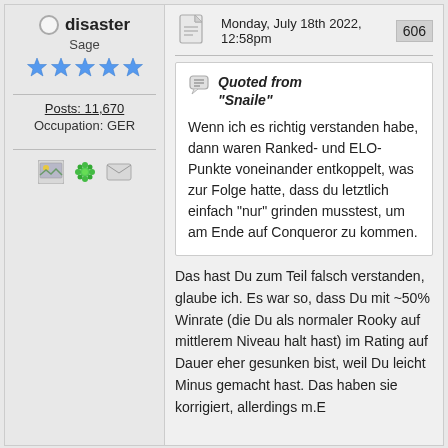disaster
Sage
Posts: 11,670
Occupation: GER
Monday, July 18th 2022, 12:58pm
606
Quoted from "Snaile"
Wenn ich es richtig verstanden habe, dann waren Ranked- und ELO-Punkte voneinander entkoppelt, was zur Folge hatte, dass du letztlich einfach "nur" grinden musstest, um am Ende auf Conqueror zu kommen.
Das hast Du zum Teil falsch verstanden, glaube ich. Es war so, dass Du mit ~50% Winrate (die Du als normaler Rooky auf mittlerem Niveau halt hast) im Rating auf Dauer eher gesunken bist, weil Du leicht Minus gemacht hast. Das haben sie korrigiert, allerdings m.E